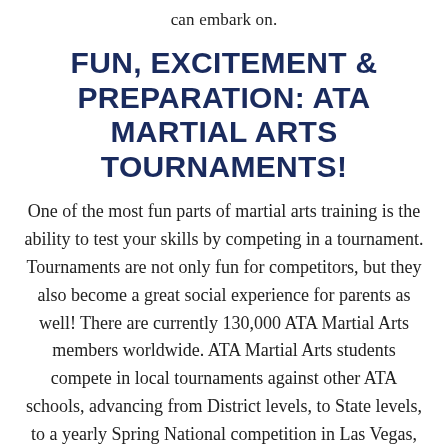can embark on.
FUN, EXCITEMENT & PREPARATION: ATA MARTIAL ARTS TOURNAMENTS!
One of the most fun parts of martial arts training is the ability to test your skills by competing in a tournament. Tournaments are not only fun for competitors, but they also become a great social experience for parents as well! There are currently 130,000 ATA Martial Arts members worldwide. ATA Martial Arts students compete in local tournaments against other ATA schools, advancing from District levels, to State levels, to a yearly Spring National competition in Las Vegas,